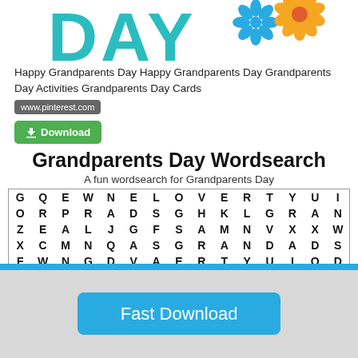[Figure (illustration): Colorful Grandparents Day graphic showing large teal 'DAY' text with decorative flowers in blue and orange/yellow]
Happy Grandparents Day Happy Grandparents Day Grandparents Day Activities Grandparents Day Cards
www.pinterest.com
[Figure (other): Green download button with download icon]
Grandparents Day Wordsearch
A fun wordsearch for Grandparents Day
[Figure (other): Word search grid with letters arranged in rows: G Q E W N E L O V E R T Y U I / O R P R A D S G H K L G R A N / Z E A L J G F S A M N V X X W / X C M N Q A S G R A N D A D S / F W N G D V A E R T Y U I O D / B Q B V W P Z H U G P N A S F / (partial row cut off)]
[Figure (other): Blue Fast Download button at bottom]